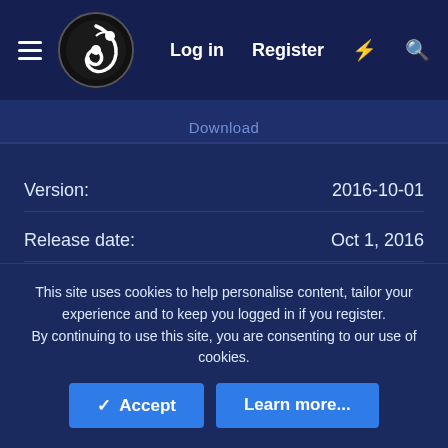Log in  Register
Download
Version:   2016-10-01
Release date:   Oct 1, 2016
Downloads:   500
Rating:   0 ratings
This site uses cookies to help personalise content, tailor your experience and to keep you logged in if you register.
By continuing to use this site, you are consenting to our use of cookies.
✓ Accept
Learn more...